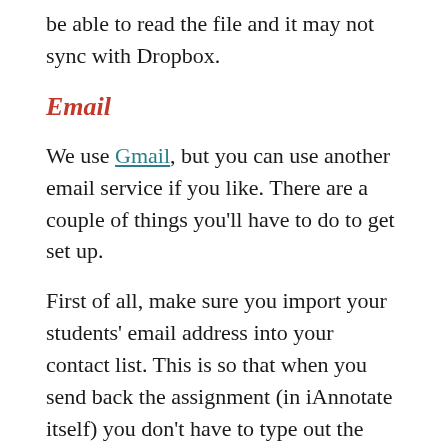be able to read the file and it may not sync with Dropbox.
Email
We use Gmail, but you can use another email service if you like. There are a couple of things you'll have to do to get set up.
First of all, make sure you import your students' email address into your contact list. This is so that when you send back the assignment (in iAnnotate itself) you don't have to type out the entire email address. You can start typing a few letters and the full address will pop up. The easiest way to